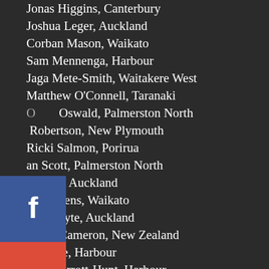Jonas Higgins, Canterbury
Joshua Leger, Auckland
Corban Mason, Waikato
Sam Mennenga, Harbour
Jaga Mete-Smith, Waitakere West
Matthew O'Connell, Taranaki
Oscar Oswald, Palmerston North
… Robertson, New Plymouth
Ricki Salmon, Porirua
…an Scott, Palmerston North
…Shorter, Auckland
…n Stephens, Waikato
…nas Whyte, Auckland
Flynn Cameron, New Zealand
…s Moore, Harbour
Khai Perrott-Hunt, Harbour
…F
Briggs, Head Coach
Pearce Assistant Coach
Leyton Haddleton, Assistant Coach